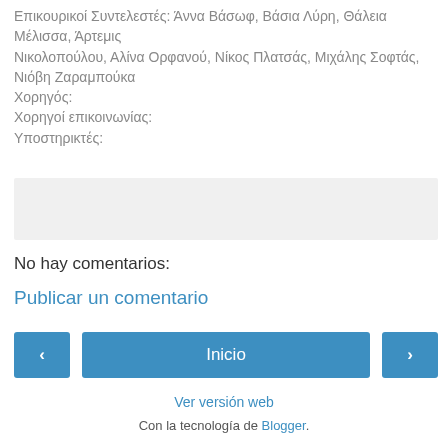Επικουρικοί Συντελεστές: Άννα Βάσωφ, Βάσια Λύρη, Θάλεια Μέλισσα, Άρτεμις Νικολοπούλου, Αλίνα Ορφανού, Νίκος Πλατσάς, Μιχάλης Σοφτάς, Νιόβη Ζαραμπούκα
Χορηγός:
Χορηγοί επικοινωνίας:
Υποστηρικτές:
[Figure (other): Gray empty box placeholder]
No hay comentarios:
Publicar un comentario
‹  Inicio  ›
Ver versión web
Con la tecnología de Blogger.